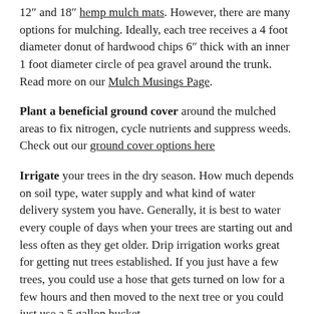12" and 18" hemp mulch mats.  However, there are many options for mulching.  Ideally, each tree receives a 4 foot diameter donut of hardwood chips 6" thick with an inner 1 foot diameter circle of pea gravel around the trunk.  Read more on our Mulch Musings Page.
Plant a beneficial ground cover around the mulched areas to fix nitrogen, cycle nutrients and suppress weeds.  Check out our ground cover options here
Irrigate your trees in the dry season.  How much depends on soil type, water supply and what kind of water delivery system you have.  Generally, it is best to water every couple of days when your trees are starting out and less often as they get older.  Drip irrigation works great for getting nut trees established.  If you just have a few trees, you could use a hose that gets turned on low for a few hours and then moved to the next tree or you could just use a 5 gallon bucket.